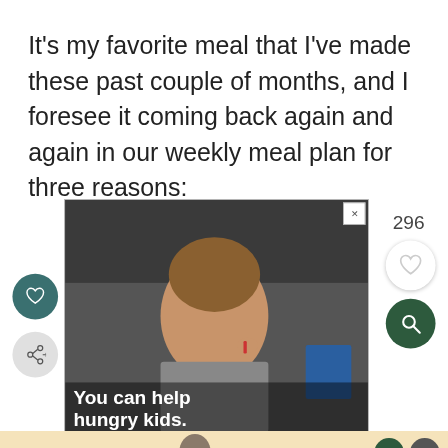It's my favorite meal that I've made these past couple of months, and I foresee it coming back again and again in our weekly meal plan for three reasons:
[Figure (screenshot): Screenshot of a mobile app/webpage showing: left sidebar with heart and share icons; a charity ad photo of a young boy eating with text overlay 'You can help hungry kids.' and a close X button; right sidebar showing count '296', heart button, and search button.]
[Figure (advertisement): Kohl's advertisement banner with tan/beige background. Left: bold text 'More style. More savings.' Center: photo of woman in jacket. Right: KOHL'S logo and text 'Swipe Up To Expand ^'. Top right corner has green P button and gray X button. Bottom right has play arrow icon.]